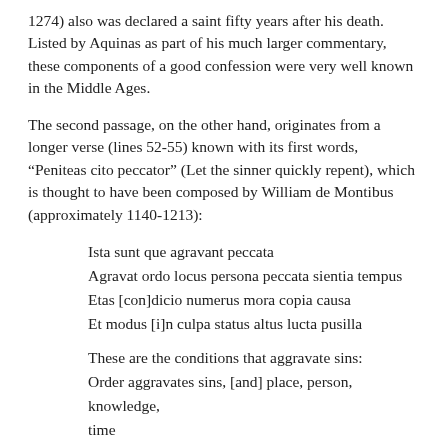1274) also was declared a saint fifty years after his death. Listed by Aquinas as part of his much larger commentary, these components of a good confession were very well known in the Middle Ages.
The second passage, on the other hand, originates from a longer verse (lines 52-55) known with its first words, “Peniteas cito peccator” (Let the sinner quickly repent), which is thought to have been composed by William de Montibus (approximately 1140-1213):
Ista sunt que agravant peccata
Agravat ordo locus persona peccata sientia tempus
Etas [con]dicio numerus mora copia causa
Et modus [i]n culpa status altus lucta pusilla
These are the conditions that aggravate sins:
Order aggravates sins, [and] place, person, knowledge, time